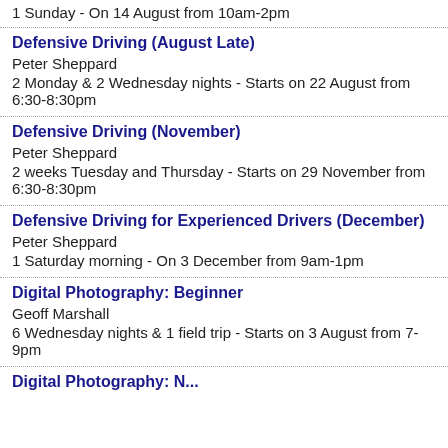1 Sunday - On 14 August from 10am-2pm
Defensive Driving (August Late)
Peter Sheppard
2 Monday & 2 Wednesday nights - Starts on 22 August from 6:30-8:30pm
Defensive Driving (November)
Peter Sheppard
2 weeks Tuesday and Thursday - Starts on 29 November from 6:30-8:30pm
Defensive Driving for Experienced Drivers (December)
Peter Sheppard
1 Saturday morning - On 3 December from 9am-1pm
Digital Photography: Beginner
Geoff Marshall
6 Wednesday nights & 1 field trip - Starts on 3 August from 7-9pm
Digital Photography: (truncated)